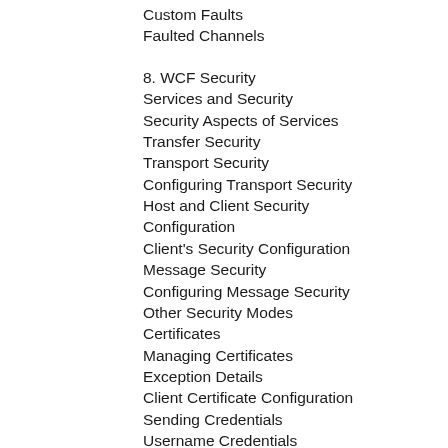Custom Faults
Faulted Channels
8. WCF Security
Services and Security
Security Aspects of Services
Transfer Security
Transport Security
Configuring Transport Security
Host and Client Security Configuration
Client's Security Configuration
Message Security
Configuring Message Security
Other Security Modes
Certificates
Managing Certificates
Exception Details
Client Certificate Configuration
Sending Credentials
Username Credentials